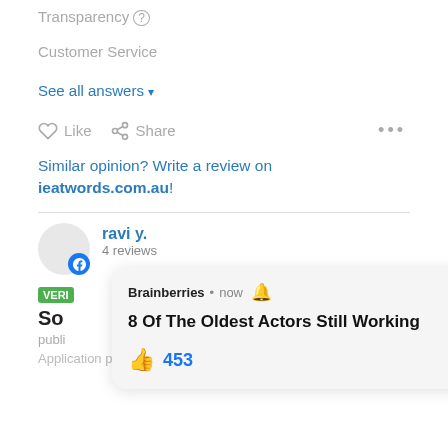Transparency (?)
Customer Service
See all answers ▾
♡ Like  < Share  •••
Similar opinion? Write a review on ieatwords.com.au!
ravi y.
4 reviews
VERI
So
publi
Application process was easy, good part is the team that you
[Figure (screenshot): Brainberries notification popup showing '8 Of The Oldest Actors Still Working' with 453 likes and a close button]